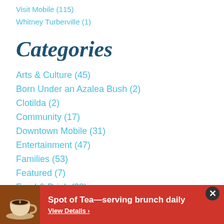Visit Mobile (115)
Whitney Turberville (1)
Categories
Arts & Culture (45)
Born Under an Azalea Bush (2)
Clotilda (2)
Community (17)
Downtown Mobile (31)
Entertainment (47)
Families (53)
Featured (7)
Food & Drink (38)
Foodie (15)
Gardens & Horticulture (1)
Spot of Tea—serving brunch daily
View Details ›